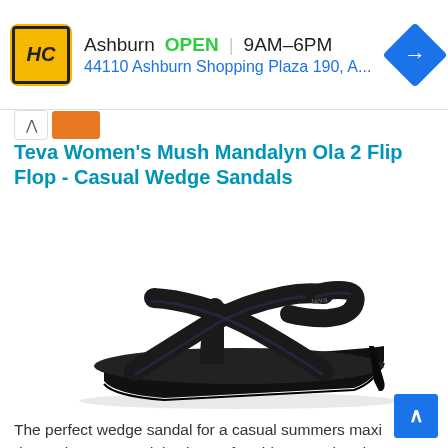[Figure (screenshot): Ad banner for HC (Herndon Center) store: logo with yellow background and HC text, Ashburn location, OPEN 9AM–6PM, address 44110 Ashburn Shopping Plaza 190, A..., navigation diamond icon]
Teva Women's Mush Mandalyn Ola 2 Flip Flop - Casual Wedge Sandals
[Figure (photo): Black Teva wedge sandal (flip flop) with multiple crossing straps with teva logo, on a white background, angled side view showing the wedge heel]
The perfect wedge sandal for a casual summers maxi dress, the Teva Madalyn is comfortable, casual and available in many colors to choose from.